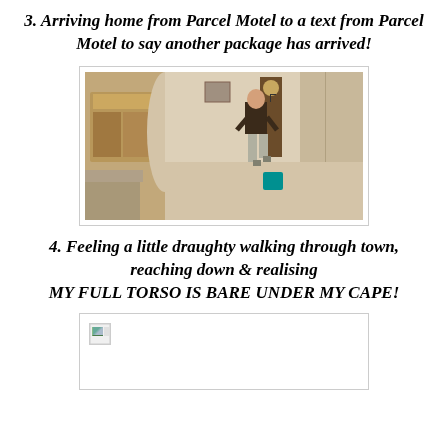3. Arriving home from Parcel Motel to a text from Parcel Motel to say another package has arrived!
[Figure (photo): A man walking quickly through a living room interior, carrying a bag.]
4. Feeling a little draughty walking through town, reaching down & realising MY FULL TORSO IS BARE UNDER MY CAPE!
[Figure (photo): Broken/missing image placeholder.]